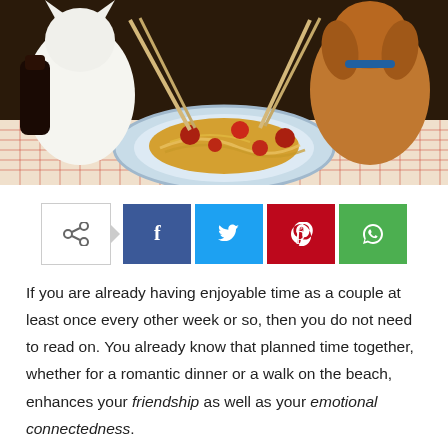[Figure (illustration): Animated scene of two cartoon characters sharing a plate of spaghetti at a restaurant table with a red checkered tablecloth]
[Figure (infographic): Social share bar with share icon button outline and four colored social media buttons: Facebook (blue), Twitter (light blue), Pinterest (red), WhatsApp (green)]
If you are already having enjoyable time as a couple at least once every other week or so, then you do not need to read on. You already know that planned time together, whether for a romantic dinner or a walk on the beach, enhances your friendship as well as your emotional connectedness.
Friendship is a critical part of any committed relationship. It makes for open and honest communication and an assumption